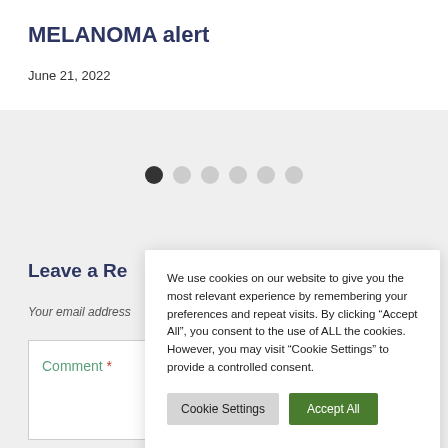MELANOMA alert
June 21, 2022
[Figure (other): Carousel pagination dots — one dark active dot followed by five light gray dots]
Leave a Re
Your email address
Comment *
We use cookies on our website to give you the most relevant experience by remembering your preferences and repeat visits. By clicking “Accept All”, you consent to the use of ALL the cookies. However, you may visit “Cookie Settings” to provide a controlled consent.